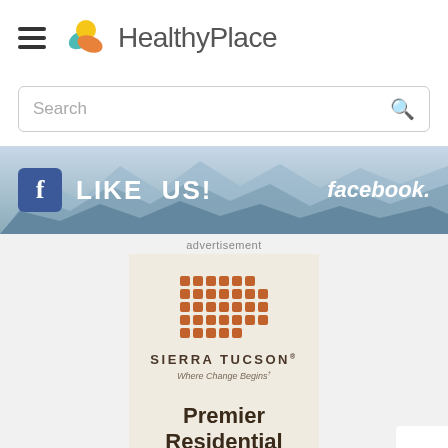HealthyPlace
Search
[Figure (other): Facebook Like Us banner with mountain background]
advertisement
[Figure (other): Sierra Tucson advertisement: Premier Residential treatment center ad with logo dots grid and tagline Where Change Begins]